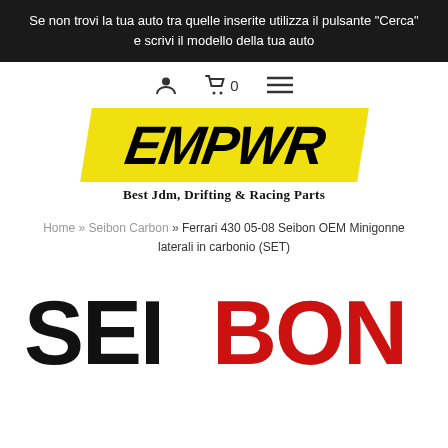Se non trovi la tua auto tra quelle inserite utilizza il pulsante "Cerca" e scrivi il modello della tua auto
[Figure (logo): EMPWR logo on yellow parallelogram background with tagline Best Jdm, Drifting & Racing Parts]
Home » Seibon Carbon » Ferrari 430 05-08 Seibon OEM Minigonne laterali in carbonio (SET)
[Figure (logo): SEIBON logo: SEI in black bold letters, BON in red bold letters]